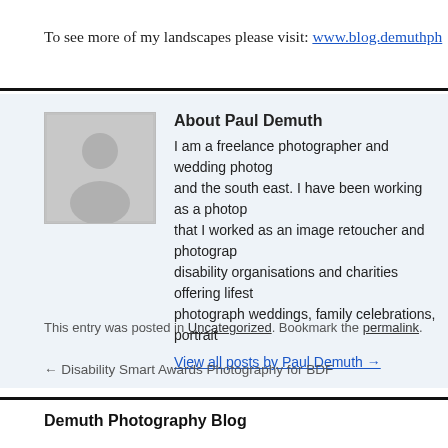To see more of my landscapes please visit: www.blog.demuthph...
[Figure (photo): Grey placeholder avatar silhouette image for author profile]
About Paul Demuth
I am a freelance photographer and wedding photographer based in London and the south east. I have been working as a photographer... that I worked as an image retoucher and photographer... disability organisations and charities offering lifest... photograph weddings, family celebrations, portrait...
View all posts by Paul Demuth →
This entry was posted in Uncategorized. Bookmark the permalink.
← Disability Smart Awards Photography for BDF
Demuth Photography Blog